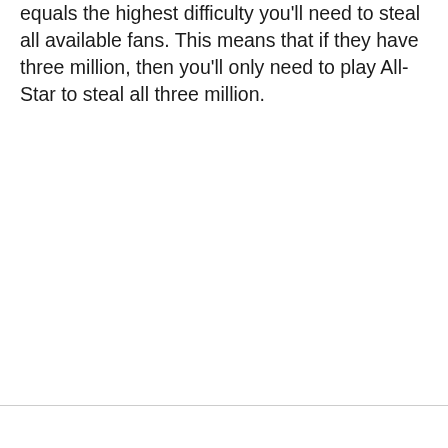equals the highest difficulty you'll need to steal all available fans. This means that if they have three million, then you'll only need to play All-Star to steal all three million.